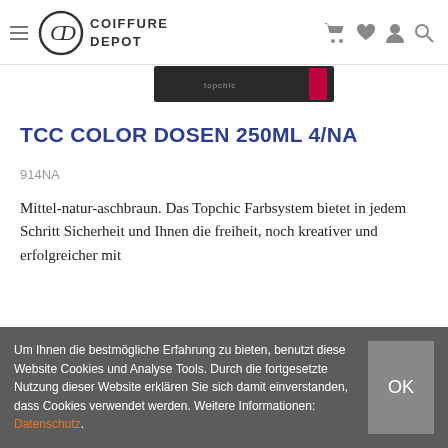Coiffure Depot
[Figure (photo): Product image strip showing a dark hair color product can partially visible at top]
TCC COLOR DOSEN 250ML 4/NA
914NA
Mittel-natur-aschbraun. Das Topchic Farbsystem bietet in jedem Schritt Sicherheit und Ihnen die freiheit, noch kreativer und erfolgreicher mit
Um Ihnen die bestmögliche Erfahrung zu bieten, benutzt diese Website Cookies und Analyse Tools. Durch die fortgesetzte Nutzung dieser Website erklären Sie sich damit einverstanden, dass Cookies verwendet werden. Weitere Informationen: Datenschutz.